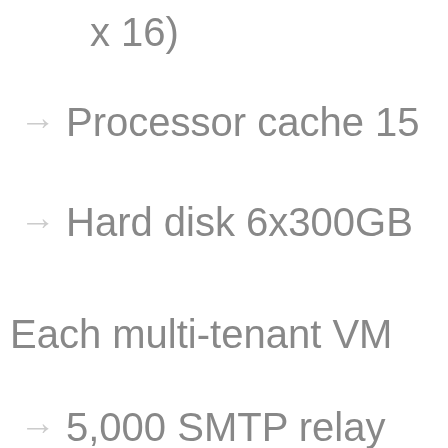x 16)
Processor cache 15
Hard disk 6x300GB
Each multi-tenant VM
5,000 SMTP relays